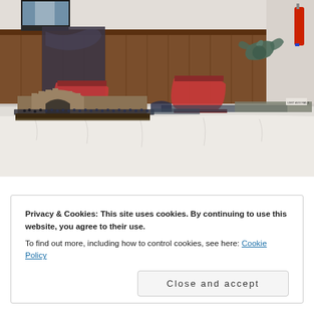[Figure (photo): A convention or hobby room showing a long table covered with white tablecloth displaying miniature wargaming figurines and dioramas, including a large castle/gate terrain piece with many dark miniatures and a dragon model. Two red-cushioned chairs are visible behind the table. Wood-paneled walls are in the background, along with a monitor/screen and a fire extinguisher.]
Privacy & Cookies: This site uses cookies. By continuing to use this website, you agree to their use.
To find out more, including how to control cookies, see here: Cookie Policy
Close and accept